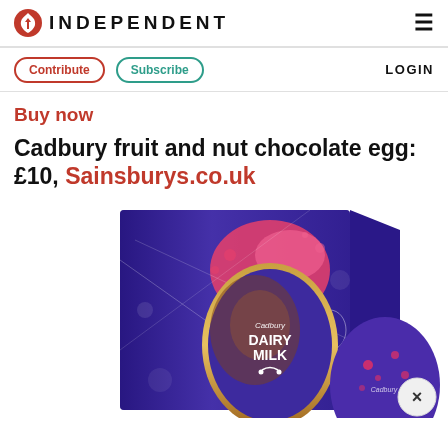INDEPENDENT
Contribute | Subscribe | LOGIN
Buy now
Cadbury fruit and nut chocolate egg: £10, Sainsburys.co.uk
[Figure (photo): Cadbury Dairy Milk fruit and nut chocolate Easter egg in purple box packaging, showing the egg with pink splashes and Dairy Milk branding, alongside a smaller Cadbury egg]